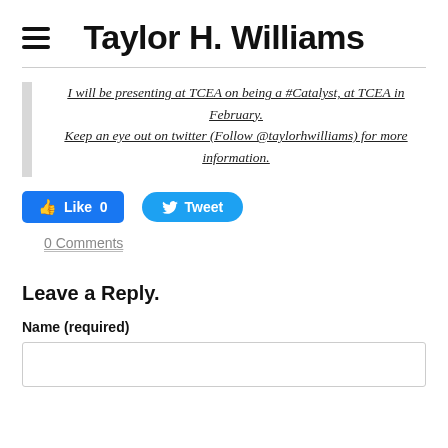Taylor H. Williams
I will be presenting at TCEA on being a #Catalyst, at TCEA in February. Keep an eye out on twitter (Follow @taylorhwilliams) for more information.
[Figure (other): Facebook Like button showing 0 likes and a Twitter Tweet button]
0 Comments
Leave a Reply.
Name (required)